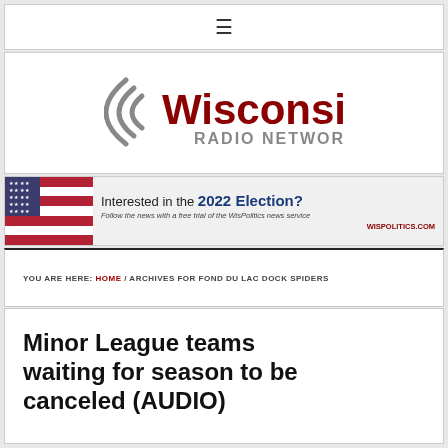☰
[Figure (logo): Wisconsin Radio Network logo with stylized radio wave arcs in gray and 'Wisconsin' in dark red bold text with 'RADIO NETWORK' in gray caps below]
[Figure (infographic): Advertisement banner: American flag image on left, text reads 'Interested in the 2022 Election? Follow the news with a free trial of the WisPolitics news service. WISPOLITICS.COM']
YOU ARE HERE: HOME / ARCHIVES FOR FOND DU LAC DOCK SPIDERS
Minor League teams waiting for season to be canceled (AUDIO)